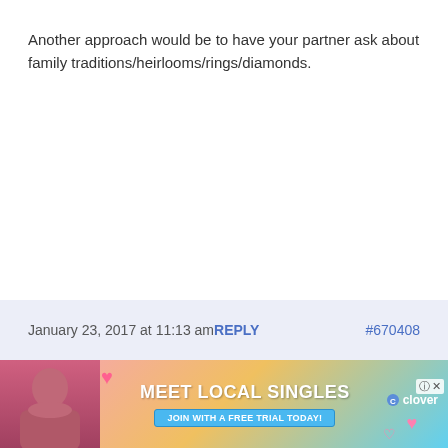Another approach would be to have your partner ask about family traditions/heirlooms/rings/diamonds.
January 23, 2017 at 11:13 am  REPLY  #670408
[Figure (infographic): Advertisement banner for Clover app - Meet Local Singles - Join with a free trial today, with photo of a woman and pink hearts]